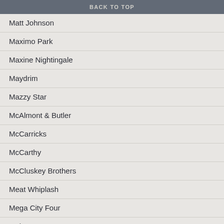BACK TO TOP
Matt Johnson
Maximo Park
Maxine Nightingale
Maydrim
Mazzy Star
McAlmont & Butler
McCarricks
McCarthy
McCluskey Brothers
Meat Whiplash
Mega City Four
Mekons
Members